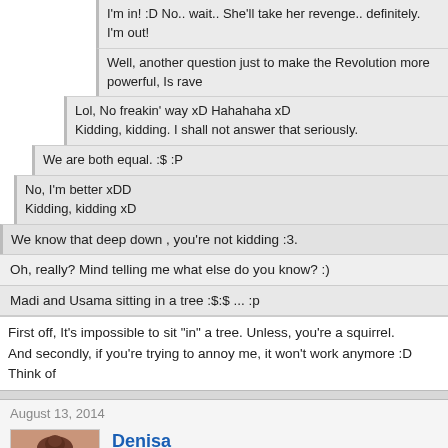I'm in! :D No.. wait.. She'll take her revenge.. definitely.
I'm out!
Well, another question just to make the Revolution more powerful, Is rave
Lol, No freakin' way xD Hahahaha xD
Kidding, kidding. I shall not answer that seriously.
We are both equal. :$ :P
No, I'm better xDD
Kidding, kidding xD
We know that deep down , you're not kidding :3.
Oh, really? Mind telling me what else do you know? :)
Madi and Usama sitting in a tree :$:$ ... :p
First off, It's impossible to sit "in" a tree. Unless, you're a squirrel.
And secondly, if you're trying to annoy me, it won't work anymore :D Think of
August 13, 2014
Denisa
Level 18
829 Posts
" Sitting In A Tree"... something you add to an abbreviation of a cute couple's initials which implies the old first love rhyme "____ and ____
sitting in a tree.